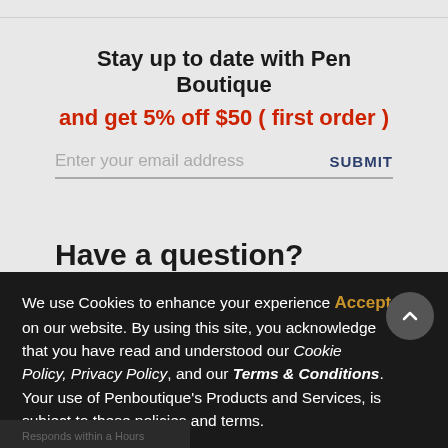Stay up to date with Pen Boutique
and get 5% off $50 ( first order )
Enter your email address  SUBMIT
Have a question?
SEND US A MESSAGE
We use Cookies to enhance your experience Accept on our website. By using this site, you acknowledge that you have read and understood our Cookie Policy, Privacy Policy, and our Terms & Conditions. Your use of Penboutique's Products and Services, is subject to these policies and terms.